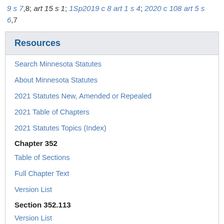9 s 7,8; art 15 s 1; 1Sp2019 c 8 art 1 s 4; 2020 c 108 art 5 s 6,7
Resources
Search Minnesota Statutes
About Minnesota Statutes
2021 Statutes New, Amended or Repealed
2021 Table of Chapters
2021 Statutes Topics (Index)
Chapter 352
Table of Sections
Full Chapter Text
Version List
Section 352.113
Version List
Topics